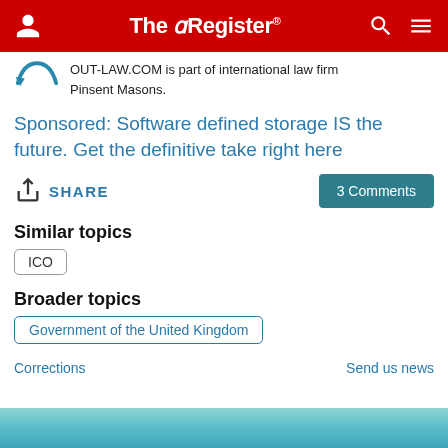The Register
OUT-LAW.COM is part of international law firm Pinsent Masons.
Sponsored: Software defined storage IS the future. Get the definitive take right here
SHARE  3 Comments
Similar topics
ICO
Broader topics
Government of the United Kingdom
Corrections    Send us news